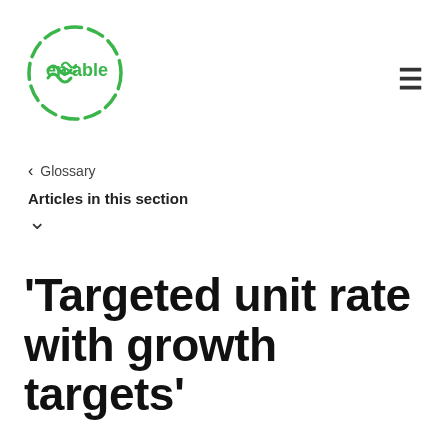[Figure (logo): Enable logo — a green dashed circle with 'en~able' text and wave symbol inside]
< Glossary
Articles in this section
'Targeted unit rate with growth targets'